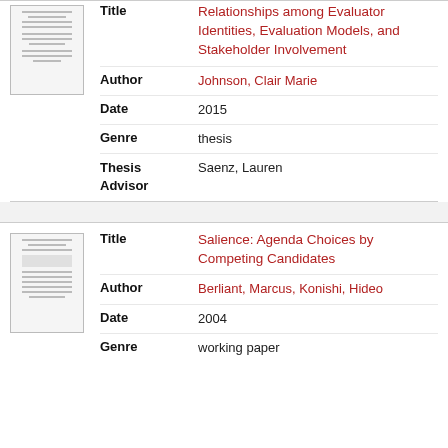| Field | Value |
| --- | --- |
| Title | Relationships among Evaluator Identities, Evaluation Models, and Stakeholder Involvement |
| Author | Johnson, Clair Marie |
| Date | 2015 |
| Genre | thesis |
| Thesis Advisor | Saenz, Lauren |
| Field | Value |
| --- | --- |
| Title | Salience: Agenda Choices by Competing Candidates |
| Author | Berliant, Marcus, Konishi, Hideo |
| Date | 2004 |
| Genre | working paper |